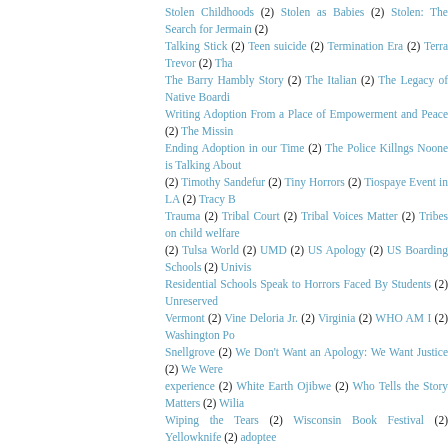Stolen Childhoods (2) Stolen as Babies (2) Stolen: The Search for Jermain (2) Talking Stick (2) Teen suicide (2) Termination Era (2) Terra Trevor (2) Tha… The Barry Hambly Story (2) The Italian (2) The Legacy of Native Boardi… Writing Adoption From a Place of Empowerment and Peace (2) The Missin… Ending Adoption in our Time (2) The Police Killngs Noone is Talking About (2) Timothy Sandefur (2) Tiny Horrors (2) Tiospaye Event in LA (2) Tracy B… Trauma (2) Tribal Court (2) Tribal Voices Matter (2) Tribes on child welfare (2) Tulsa World (2) UMD (2) US Apology (2) US Boarding Schools (2) Univis… Residential Schools Speak to Horrors Faced By Students (2) Unreserved… Vermont (2) Vine Deloria Jr. (2) Virginia (2) WHO AM I (2) Washington Po… Snellgrove (2) We Don't Want an Apology: We Want Justice (2) We Were experience (2) White Earth Ojibwe (2) Who Tells the Story Matters (2) Wilia… Wiping the Tears (2) Wisconsin Book Festival (2) Yellowknife (2) adoptee adoption access bills (2) adoption files (2) annulling adoption (2) anti-Nati… (2) australia (2) beyond meds (2) child abduction (2) child targets (2) cli… conditional access (2) corona virus Navajo Nation (2) coroner (2) costs of destroyed records (2) detribalization (2) discrimination (2) dumping adopte… film (2) first comprehensive study on child removal in Native communities global poverty (2) graves (2) grieving (2) ground-penetrating radar (2) h… open an adoption (2) http://www.firstnationsfilms.com/ (2) illegal child invasion of a child's privacy (2) invisible (2) journalism (2) larry swartz (2) birthchild (2) mental health crisis (2) missing documents (2) museums (2) m… guidelines (2) northern exposure (2) open adoption propaganda (2) paren… percentage of Indian Blood (2) rejection (2) removals (2) residential… reunification (2) scientific racism (2) secrecy (2) social worker (2) st…